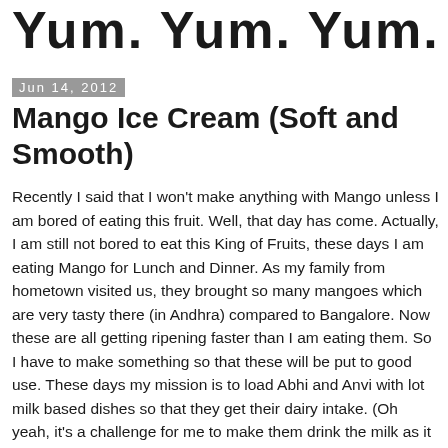Yum. Yum. Yum.
Jun 14, 2012
Mango Ice Cream (Soft and Smooth)
Recently I said that I won't make anything with Mango unless I am bored of eating this fruit. Well, that day has come. Actually, I am still not bored to eat this King of Fruits, these days I am eating Mango for Lunch and Dinner. As my family from hometown visited us, they brought so many mangoes which are very tasty there (in Andhra) compared to Bangalore. Now these are all getting ripening faster than I am eating them. So I have to make something so that these will be put to good use. These days my mission is to load Abhi and Anvi with lot milk based dishes so that they get their dairy intake. (Oh yeah, it's a challenge for me to make them drink the milk as it is, so I have to use my sneaking techniques.). So as the recent Badaam Kulfi was such a hit for kids, today I wanted to try some thing in the same notes.... and that is Mango Icecream. and I have all the ingredients in my pantry, Ola!..Let's cook and chill with some Mango IceCream today. Here is the recipe. Enjoy!